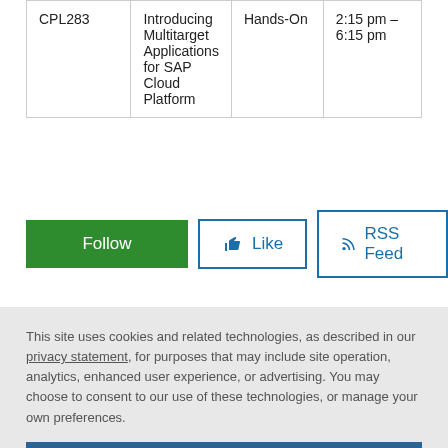| CPL283 | Introducing Multitarget Applications for SAP Cloud Platform | Hands-On | 2:15 pm – 6:15 pm |
[Figure (other): Three buttons: Follow (green), Like (bordered with thumbs-up icon), RSS Feed (bordered with RSS icon)]
This site uses cookies and related technologies, as described in our privacy statement, for purposes that may include site operation, analytics, enhanced user experience, or advertising. You may choose to consent to our use of these technologies, or manage your own preferences.
Accept Cookies
More Information
Privacy Policy | Powered by: TrustArc